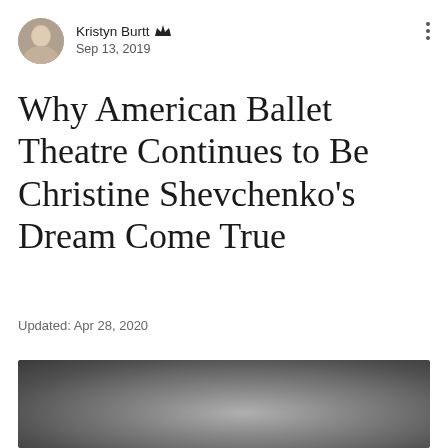Kristyn Burtt [admin] · Sep 13, 2019
Why American Ballet Theatre Continues to Be Christine Shevchenko's Dream Come True
Updated: Apr 28, 2020
[Figure (photo): Blurred/obscured photograph with grayscale tones, content not discernible]